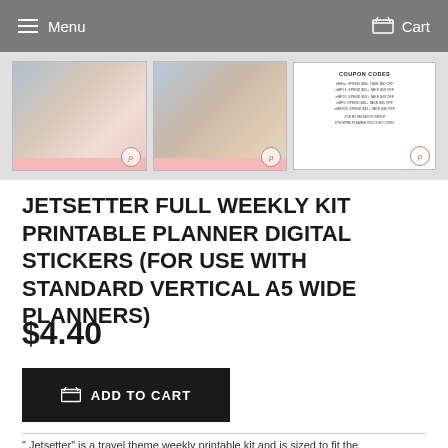Menu   Cart
[Figure (photo): Three thumbnail images of planner sticker kits: two showing colorful weekly sticker layouts and one showing coupon codes]
JETSETTER FULL WEEKLY KIT PRINTABLE PLANNER DIGITAL STICKERS (FOR USE WITH STANDARD VERTICAL A5 WIDE PLANNERS)
$4.40
ADD TO CART
"Jetsetter" is a travel theme weekly printable kit and is sized to fit the